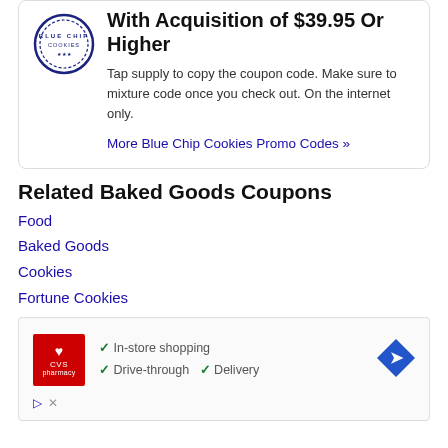With Acquisition of $39.95 Or Higher
Tap supply to copy the coupon code. Make sure to mixture code once you check out. On the internet only.
More Blue Chip Cookies Promo Codes »
Related Baked Goods Coupons
Food
Baked Goods
Cookies
Fortune Cookies
[Figure (screenshot): CVS Pharmacy advertisement showing in-store shopping, drive-through, and delivery options with a blue direction arrow icon]